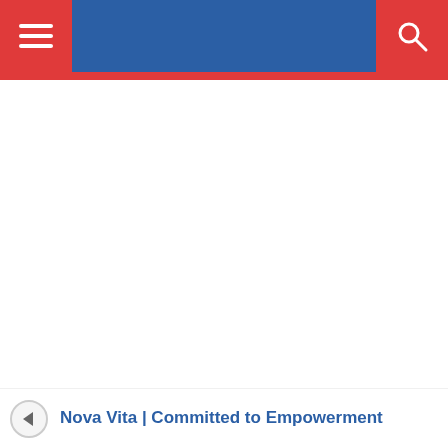[Figure (screenshot): Navigation bar with blue background, red hamburger menu button on left, and red search button with magnifying glass icon on right]
Nova Vita | Committed to Empowerment